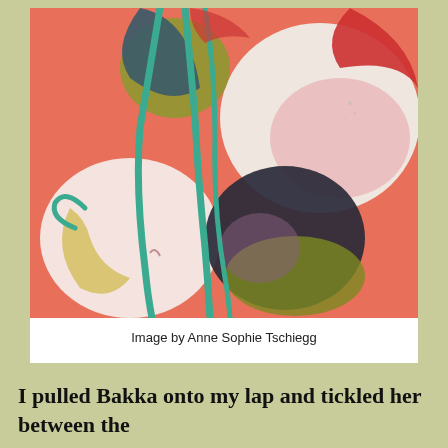[Figure (illustration): Abstract painting with organic shapes on a coral/salmon red background. Features teal/turquoise flowing vine-like lines, large rounded forms in dark navy/black, white, pale pink, yellow-green/olive, and red tones. The style is painterly and expressive.]
Image by Anne Sophie Tschiegg
I pulled Bakka onto my lap and tickled her between the